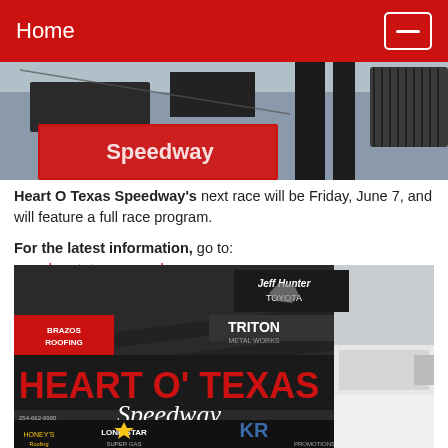Home
[Figure (photo): Top portion of a speedway sign or building exterior, partially visible]
Heart O Texas Speedway's next race will be Friday, June 7, and will feature a full race program.

For the latest information, go to: www.heartotexasspeedway.com
[Figure (photo): Heart O' Texas Speedway sign with sponsor logos including Jeff Hunter Toyota, Triton Metal Works, Brazos Roofing, Lone Star Super Gas, KR Promotions, and Honey's Roofing (254-662-9900)]